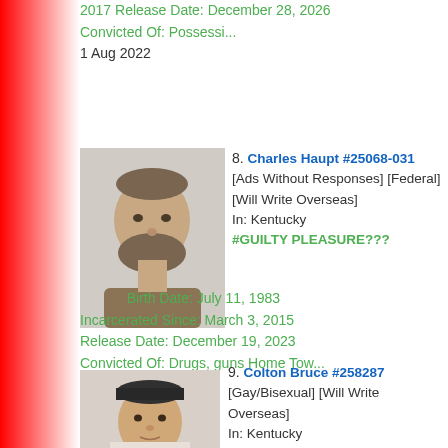2017 Release Date: December 28, 2026
Convicted Of: Possessi...
1 Aug 2022
8. Charles Haupt #25068-031 [Ads Without Responses] [Federal] [Will Write Overseas] In: Kentucky #GUILTY PLEASURE??? Birth Date: July 11, 1983 Incarcerated Since: March 3, 2015 Release Date: December 19, 2023 Convicted Of: Drugs, guns Home Tow... 22 Jul 2022
[Figure (photo): Mugshot of Charles Haupt, bearded man in tan shirt]
9. Colton Bruce #258287 [Gay/Bisexual] [Will Write Overseas] In: Kentucky
[Figure (photo): Mugshot of Colton Bruce, young man with cap]